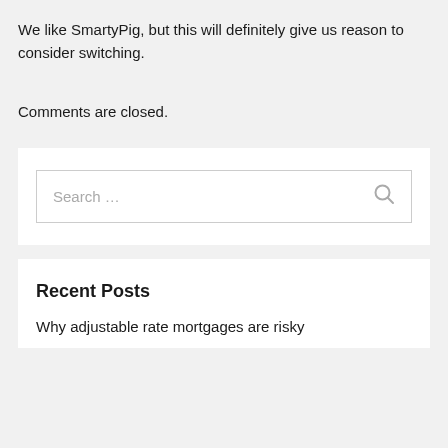We like SmartyPig, but this will definitely give us reason to consider switching.
Comments are closed.
[Figure (other): Search bar widget with placeholder text 'Search ...' and a search icon]
Recent Posts
Why adjustable rate mortgages are risky